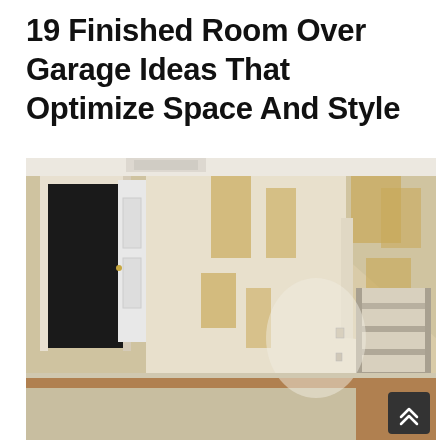19 Finished Room Over Garage Ideas That Optimize Space And Style
[Figure (photo): Interior photograph of a room over garage under construction, showing drywall with joint compound patches in tan/yellow tones, an open door on the left leading to a dark hallway, angled roofline visible on right side with built-in shelving unit, wood floor with area rug.]